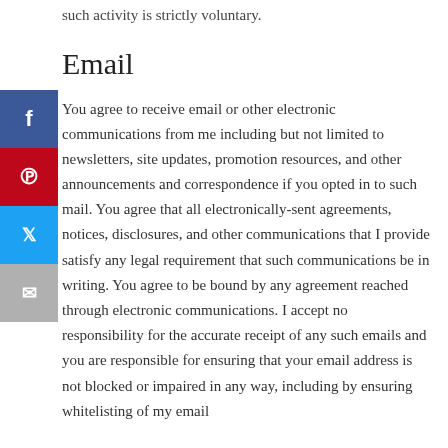such activity is strictly voluntary.
Email
You agree to receive email or other electronic communications from me including but not limited to newsletters, site updates, promotion resources, and other announcements and correspondence if you opted in to such mail. You agree that all electronically-sent agreements, notices, disclosures, and other communications that I provide satisfy any legal requirement that such communications be in writing. You agree to be bound by any agreement reached through electronic communications. I accept no responsibility for the accurate receipt of any such emails and you are responsible for ensuring that your email address is not blocked or impaired in any way, including by ensuring whitelisting of my email